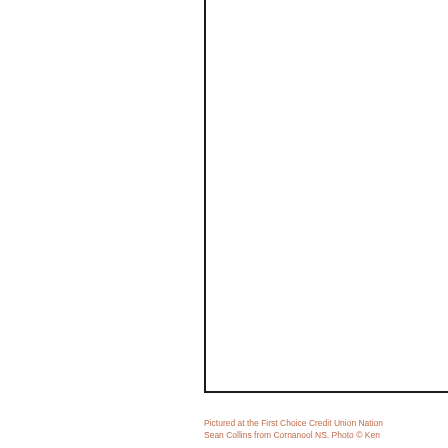[Figure (photo): A mostly white/blank image area with a black border line running vertically near the center-left and horizontally at the bottom, forming an L-shape border. The image content is cropped/cut off.]
Pictured at the First Choice Credit Union Nation... Sean Collins from Cornanool NS. Photo © Ken...